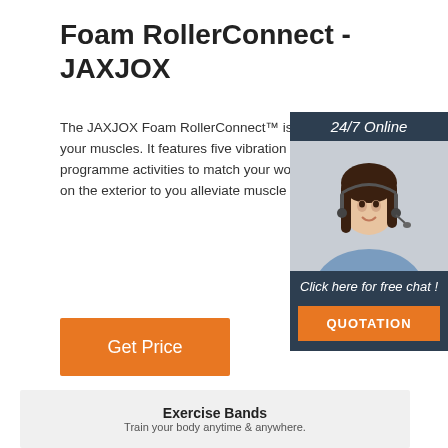Foam RollerConnect - JAXJOX
The JAXJOX Foam RollerConnect™ is the smarter way to activate and recover your muscles. It features five vibration intensity to help you recover faster, pre-programmed activities to match your workout, and three different massage zones on the exterior to you alleviate muscle soreness and improve range of motion.
[Figure (photo): 24/7 Online chat widget with a woman wearing a headset, with a 'Click here for free chat!' callout and a QUOTATION button]
Get Price
[Figure (illustration): Yellow 'Top' button in the lower right area]
Exercise Bands
Train your body anytime & anywhere.